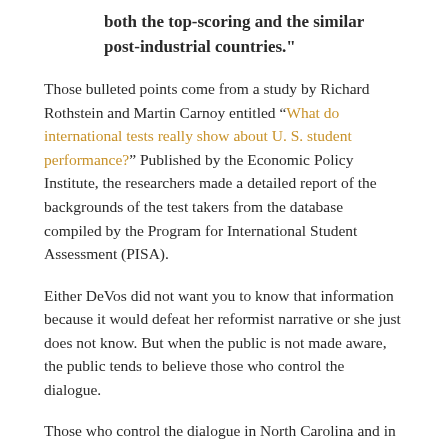both the top-scoring and the similar post-industrial countries."
Those bulleted points come from a study by Richard Rothstein and Martin Carnoy entitled “What do international tests really show about U. S. student performance?” Published by the Economic Policy Institute, the researchers made a detailed report of the backgrounds of the test takers from the database compiled by the Program for International Student Assessment (PISA).
Either DeVos did not want you to know that information because it would defeat her reformist narrative or she just does not know. But when the public is not made aware, the public tends to believe those who control the dialogue.
Those who control the dialogue in North Carolina and in